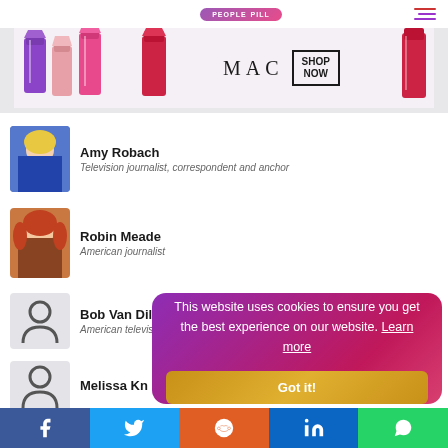PEOPLE PILL
[Figure (photo): MAC Cosmetics advertisement banner with lipsticks and SHOP NOW button]
Amy Robach – Television journalist, correspondent and anchor
Robin Meade – American journalist
Bob Van Dillen – American television meteorologist
Melissa Kn[ight] – [partial]
Jennifer W[...] – American jou[rnalist]
This website uses cookies to ensure you get the best experience on our website. Learn more
Facebook | Twitter | Reddit | LinkedIn | WhatsApp